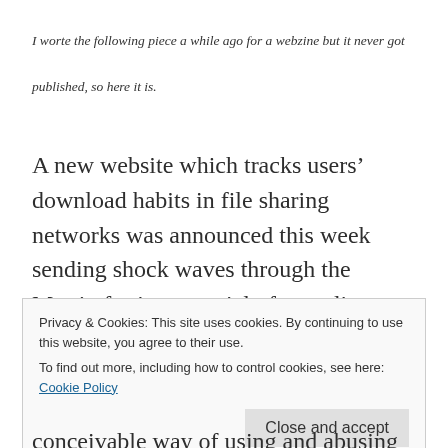I worte the following piece a while ago for a webzine but it never got published, so here it is.
A new website which tracks users’ download habits in file sharing networks was announced this week sending shock waves through the Matrix for its potential of revealing highly sensitive private data, stirring once more controversy over the benefits and dangers of
Privacy & Cookies: This site uses cookies. By continuing to use this website, you agree to their use.
To find out more, including how to control cookies, see here: Cookie Policy
Close and accept
conceivable way of using and abusing the infinite